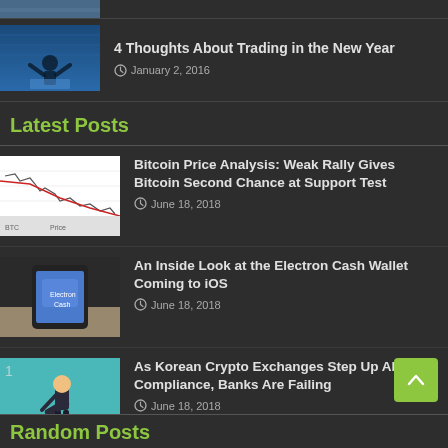[Figure (photo): Partially visible thumbnail of a person at a computer celebrating]
4 Thoughts About Trading in the New Year
January 2, 2016
Latest Posts
[Figure (photo): Bitcoin price chart showing candlestick data with a downward trend and red line]
Bitcoin Price Analysis: Weak Rally Gives Bitcoin Second Chance at Support Test
June 18, 2018
[Figure (photo): Person holding a smartphone displaying a blue screen - Electron Cash Wallet]
An Inside Look at the Electron Cash Wallet Coming to iOS
June 18, 2018
[Figure (photo): Illustration of a person bowing in front of a teal background - Korean compliance theme]
As Korean Crypto Exchanges Step Up AML Compliance, Banks Are Failing
June 18, 2018
Random Posts